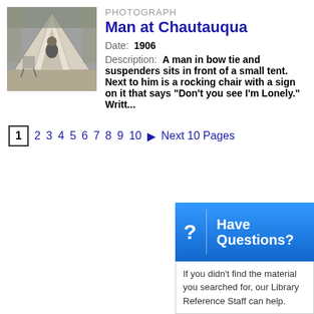[Figure (photo): Black and white photograph of a man in bow tie and suspenders sitting in front of a small tent with a rocking chair beside him]
PHOTOGRAPH
Man at Chautauqua
Date: 1906
Description: A man in bow tie and suspenders sits in front of a small tent. Next to him is a rocking chair with a sign on it that says "Don't you see I'm Lonely." Writt...
1 2 3 4 5 6 7 8 9 10 ▶ Next 10 Pages
? Have Questions?
If you didn't find the material you searched for, our Library Reference Staff can help.